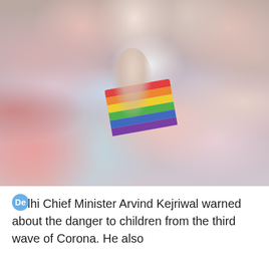[Figure (photo): A crowd of people, one person in center wearing a rainbow pride flag draped over their shoulders, surrounded by blurred crowd members]
Delhi Chief Minister Arvind Kejriwal warned about the danger to children from the third wave of Corona. He also